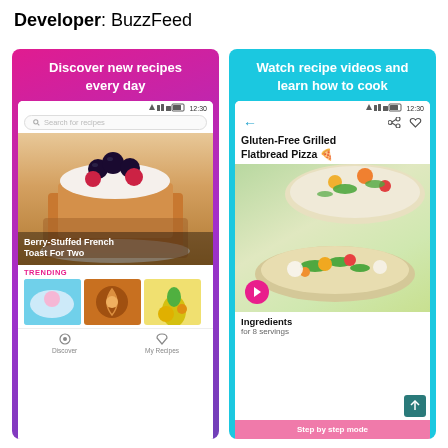Developer: BuzzFeed
[Figure (screenshot): Mobile app screenshot showing a recipe discovery app with gradient pink-purple background, text 'Discover new recipes every day', a phone screen showing Berry-Stuffed French Toast For Two recipe with food photo, trending section with thumbnail images, and bottom navigation bar with Discover and My Recipes items.]
[Figure (screenshot): Mobile app screenshot showing a recipe app with cyan/teal background, text 'Watch recipe videos and learn how to cook', a phone screen showing Gluten-Free Grilled Flatbread Pizza recipe with food photo, a play button, ingredients section for 8 servings, Step by step mode button, and a back-to-top button.]